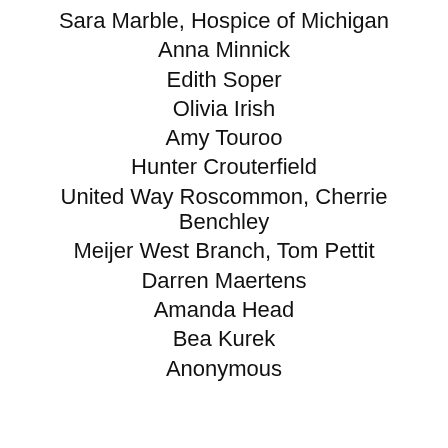Sara Marble, Hospice of Michigan
Anna Minnick
Edith Soper
Olivia Irish
Amy Touroo
Hunter Crouterfield
United Way Roscommon, Cherrie Benchley
Meijer West Branch, Tom Pettit
Darren Maertens
Amanda Head
Bea Kurek
Anonymous